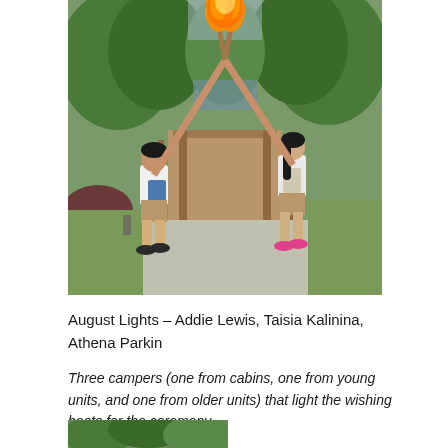[Figure (photo): Two girls holding flaming torches aloft in an X shape, standing on a path in front of a wooden bridge surrounded by trees. The girl on the left wears a white shirt and shorts with a blue towel, the girl on the right wears a white shirt and shorts with pink sneakers.]
August Lights – Addie Lewis, Taisia Kalinina, Athena Parkin
Three campers (one from cabins, one from young units, and one from older units) that light the wishing boats for the ceremony
[Figure (photo): Partial view of a second photo showing trees and a camp outdoor scene.]